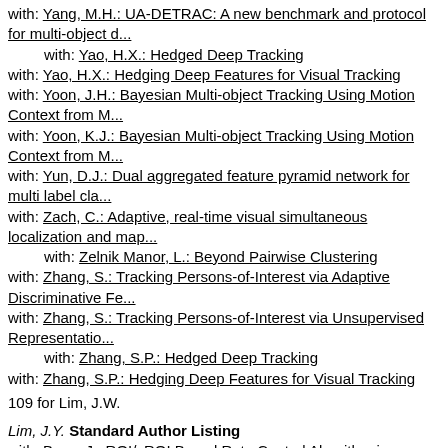with: Yang, M.H.: UA-DETRAC: A new benchmark and protocol for multi-object d...
with: Yao, H.X.: Hedged Deep Tracking
with: Yao, H.X.: Hedging Deep Features for Visual Tracking
with: Yoon, J.H.: Bayesian Multi-object Tracking Using Motion Context from M...
with: Yoon, K.J.: Bayesian Multi-object Tracking Using Motion Context from M...
with: Yun, D.J.: Dual aggregated feature pyramid network for multi label cla...
with: Zach, C.: Adaptive, real-time visual simultaneous localization and map...
with: Zelnik Manor, L.: Beyond Pairwise Clustering
with: Zhang, S.: Tracking Persons-of-Interest via Adaptive Discriminative Fe...
with: Zhang, S.: Tracking Persons-of-Interest via Unsupervised Representatio...
with: Zhang, S.P.: Hedged Deep Tracking
with: Zhang, S.P.: Hedging Deep Features for Visual Tracking
109 for Lim, J.W.
Lim, J.Y. Standard Author Listing
with: Byun, J.: ROI/xROI Based Rate Control Algorithm in H.264/AVC for Video...